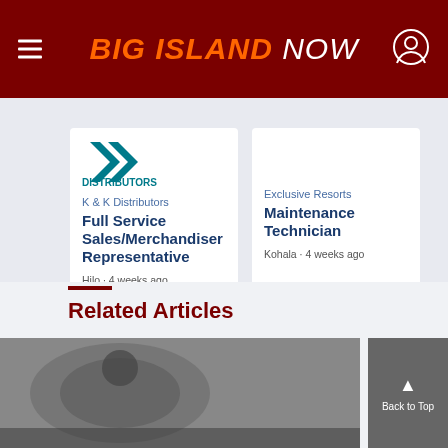BIG ISLAND NOW
[Figure (logo): K & K Distributors logo with teal double-arrow mark above teal DISTRIBUTORS text]
K & K Distributors
Full Service Sales/Merchandiser Representative
Hilo · 4 weeks ago
Exclusive Resorts
Maintenance Technician
Kohala · 4 weeks ago
Looking for locally based talent?
Post a Job Listing
Related Articles
[Figure (photo): Partial photo of an ornate circular seal or emblem, dimly lit scene below the fold]